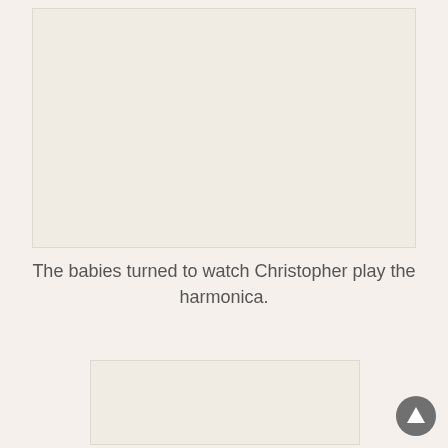[Figure (illustration): A blank/white illustration placeholder box at the top of the page]
The babies turned to watch Christopher play the harmonica.
[Figure (illustration): A blank/white illustration placeholder box at the bottom of the page]